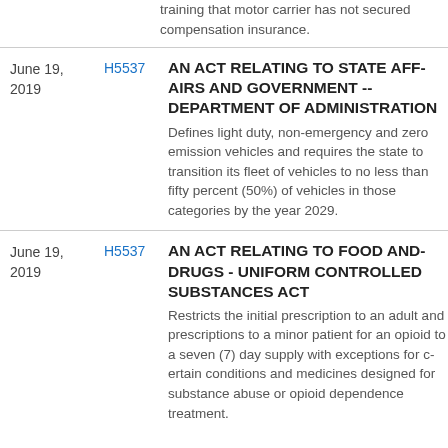training that motor carrier has not secured compensation insurance.
June 19, 2019 | H5537 | AN ACT RELATING TO STATE AFFAIRS AND GOVERNMENT -- DEPARTMENT OF ADMINISTRATION
Defines light duty, non-emergency and zero emission vehicles and requires the state to transition its fleet of vehicles to no less than fifty percent (50%) of vehicles in those categories by the year 2029.
June 19, 2019 | H5537 | AN ACT RELATING TO FOOD AND DRUGS - UNIFORM CONTROLLED SUBSTANCES ACT
Restricts the initial prescription to an adult and prescriptions to a minor patient for an opioid to a seven (7) day supply with exceptions for certain conditions and medicines designed for substance abuse or opioid dependence treatment.